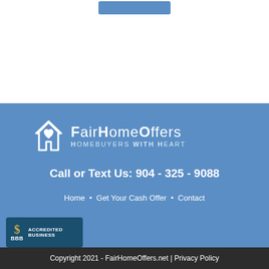[Figure (logo): FairHomeOffers logo with house icon and heart]
Call or Text Us: 904 - 325 - 9088
Home • Get Your Cash Offer • Contact
[Figure (logo): BBB Accredited Business badge]
Copyright 2021 - FairHomeOffers.net | Privacy Policy